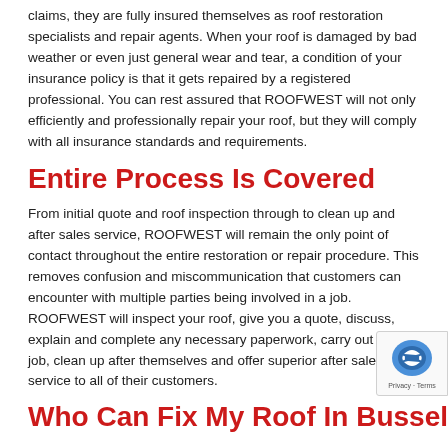claims, they are fully insured themselves as roof restoration specialists and repair agents. When your roof is damaged by bad weather or even just general wear and tear, a condition of your insurance policy is that it gets repaired by a registered professional. You can rest assured that ROOFWEST will not only efficiently and professionally repair your roof, but they will comply with all insurance standards and requirements.
Entire Process Is Covered
From initial quote and roof inspection through to clean up and after sales service, ROOFWEST will remain the only point of contact throughout the entire restoration or repair procedure. This removes confusion and miscommunication that customers can encounter with multiple parties being involved in a job. ROOFWEST will inspect your roof, give you a quote, discuss, explain and complete any necessary paperwork, carry out the job, clean up after themselves and offer superior after sales service to all of their customers.
Who Can Fix My Roof In Bussel…
ROOFWEST Roof Restorations. As the premier choice in roof repair and